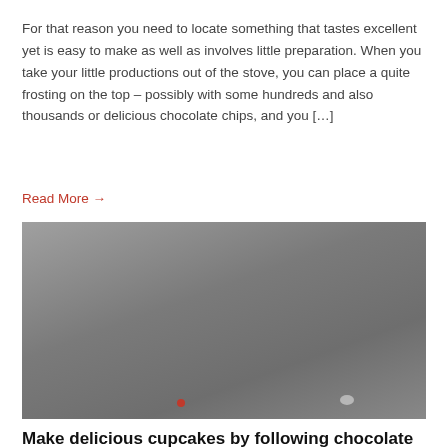For that reason you need to locate something that tastes excellent yet is easy to make as well as involves little preparation. When you take your little productions out of the stove, you can place a quite frosting on the top – possibly with some hundreds and also thousands or delicious chocolate chips, and you […]
Read More →
[Figure (photo): A grey/dark background photo, likely showing food items (cupcakes), with a small red dot and faint light-colored object visible at the bottom of the frame.]
Make delicious cupcakes by following chocolate